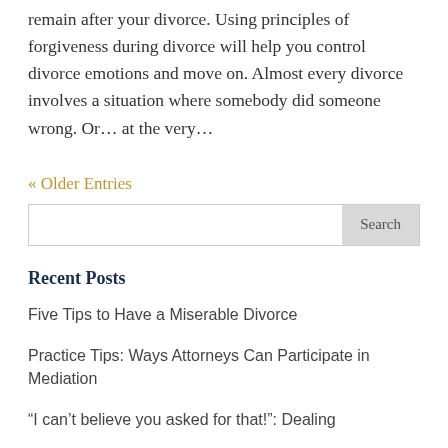remain after your divorce. Using principles of forgiveness during divorce will help you control divorce emotions and move on. Almost every divorce involves a situation where somebody did someone wrong. Or… at the very…
« Older Entries
Recent Posts
Five Tips to Have a Miserable Divorce
Practice Tips: Ways Attorneys Can Participate in Mediation
“I can’t believe you asked for that!”: Dealing